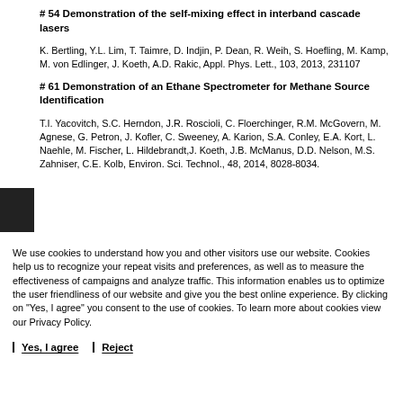# 54 Demonstration of the self-mixing effect in interband cascade lasers
K. Bertling, Y.L. Lim, T. Taimre, D. Indjin, P. Dean, R. Weih, S. Hoefling, M. Kamp, M. von Edlinger, J. Koeth, A.D. Rakic, Appl. Phys. Lett., 103, 2013, 231107
# 61 Demonstration of an Ethane Spectrometer for Methane Source Identification
T.I. Yacovitch, S.C. Herndon, J.R. Roscioli, C. Floerchinger, R.M. McGovern, M. Agnese, G. Petron, J. Kofler, C. Sweeney, A. Karion, S.A. Conley, E.A. Kort, L. Naehle, M. Fischer, L. Hildebrandt, J. Koeth, J.B. McManus, D.D. Nelson, M.S. Zahniser, C.E. Kolb, Environ. Sci. Technol., 48, 2014, 8028-8034.
We use cookies to understand how you and other visitors use our website. Cookies help us to recognize your repeat visits and preferences, as well as to measure the effectiveness of campaigns and analyze traffic. This information enables us to optimize the user friendliness of our website and give you the best online experience. By clicking on "Yes, I agree" you consent to the use of cookies. To learn more about cookies view our Privacy Policy.
Yes, I agree
Reject